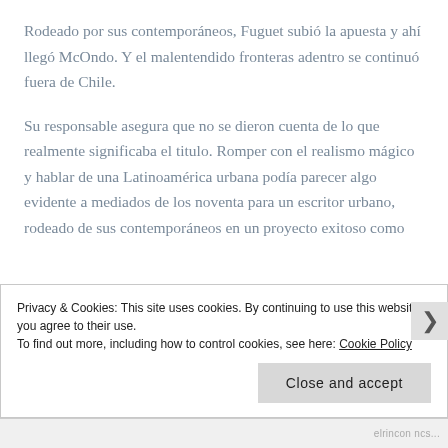Rodeado por sus contemporáneos, Fuguet subió la apuesta y ahí llegó McOndo. Y el malentendido fronteras adentro se continuó fuera de Chile.
Su responsable asegura que no se dieron cuenta de lo que realmente significaba el titulo. Romper con el realismo mágico y hablar de una Latinoamérica urbana podía parecer algo evidente a mediados de los noventa para un escritor urbano, rodeado de sus contemporáneos en un proyecto exitoso como
Privacy & Cookies: This site uses cookies. By continuing to use this website, you agree to their use.
To find out more, including how to control cookies, see here: Cookie Policy
Close and accept